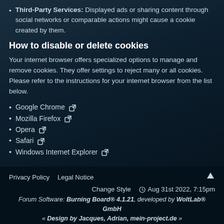Third-Party Services: Displayed ads or sharing content through social networks or comparable actions might cause a cookie created by them.
How to disable or delete cookies
Your internet browser offers specialized options to manage and remove cookies. They offer settings to reject many or all cookies. Please refer to the instructions for your internet browser from the list below.
Google Chrome
Mozilla Firefox
Opera
Safari
Windows Internet Explorer
Privacy Policy   Legal Notice   Change Style   Aug 31st 2022, 7:15pm   Forum Software: Burning Board® 4.1.21, developed by WoltLab® GmbH   « Design by Jacques, Adrian, mein-project.de »